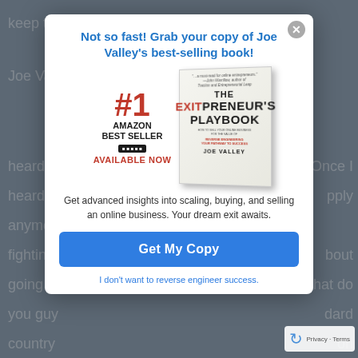[Figure (screenshot): Background webpage text partially visible behind modal overlay, showing fragments of conversation text.]
Not so fast! Grab your copy of Joe Valley's best-selling book!
[Figure (photo): Book cover of 'The Exitpreneur's Playbook' by Joe Valley, showing #1 Amazon Best Seller badge and 'Available Now' text on the left side.]
Get advanced insights into scaling, buying, and selling an online business. Your dream exit awaits.
Get My Copy
I don't want to reverse engineer success.